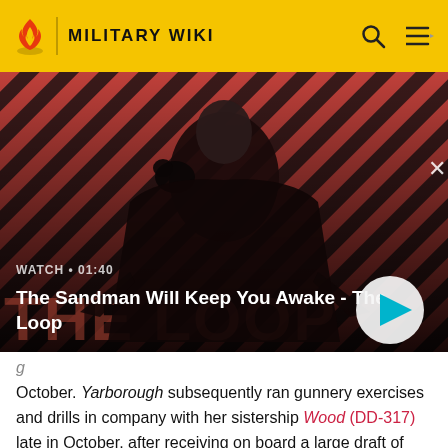MILITARY WIKI
[Figure (screenshot): Video thumbnail showing a dark-cloaked figure with a raven on shoulder against a red and black striped background. Shows 'WATCH • 01:40' and title 'The Sandman Will Keep You Awake - The Loop' with a play button.]
October. Yarborough subsequently ran gunnery exercises and drills in company with her sistership Wood (DD-317) late in October, after receiving on board a large draft of men from Jacob Jones (DD-130). Yarborough apparently joined the operating segment of the "rotating reserves" at